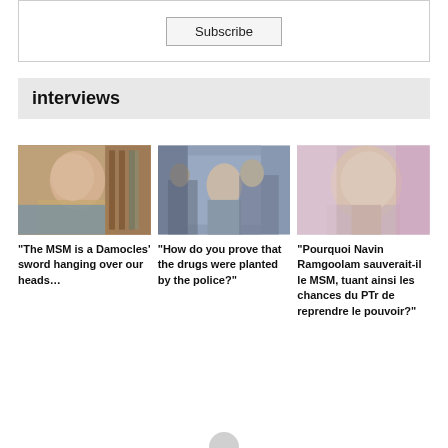Subscribe
interviews
[Figure (photo): Woman in white top and teal scarf speaking, bookshelves in background]
“The MSM is a Damocles’ sword hanging over our heads…
[Figure (photo): Man with glasses in grey shirt with group of people near glass door]
“How do you prove that the drugs were planted by the police?”
[Figure (photo): Elderly man in light suit with hand raised, outdoor background]
“Pourquoi Navin Ramgoolam sauverait-il le MSM, tuant ainsi les chances du PTr de reprendre le pouvoir?”